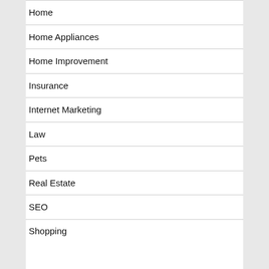Home
Home Appliances
Home Improvement
Insurance
Internet Marketing
Law
Pets
Real Estate
SEO
Shopping